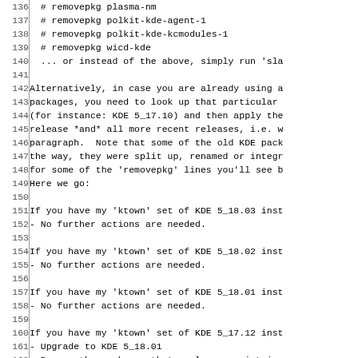136-166: Source code/documentation lines showing removepkg commands and KDE upgrade instructions
137: # removepkg polkit-kde-agent-1
138: # removepkg polkit-kde-kcmodules-1
139: # removepkg wicd-kde
140: ... or instead of the above, simply run 'sla
142-149: Alternatively, in case you are already using a packages, you need to look up that particular (for instance: KDE 5_17.10) and then apply the release *and* all more recent releases, i.e. w paragraph. Note that some of the old KDE pack the way, they were split up, renamed or integr for some of the 'removepkg' lines you'll see b Here we go:
151-152: If you have my 'ktown' set of KDE 5_18.03 inst - No further actions are needed.
154-155: If you have my 'ktown' set of KDE 5_18.02 inst - No further actions are needed.
157-158: If you have my 'ktown' set of KDE 5_18.01 inst - No further actions are needed.
160-163: If you have my 'ktown' set of KDE 5_17.12 inst - Upgrade to KDE 5_18.01 Remove the packages that no longer exist in # removepkg kdevplatform
165-166: If you have my 'ktown' set of KDE 5_17.11 inst Upgrade to KDE 5_17.12